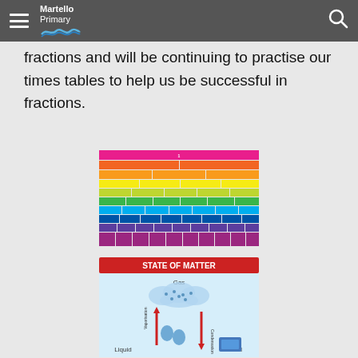Martello Primary
fractions and will be continuing to practise our times tables to help us be successful in fractions.
[Figure (illustration): A rainbow-coloured fraction wall chart showing fractions divided into equal parts, with rows coloured from pink/red at the top through orange, yellow, green, teal, blue, and purple at the bottom.]
[Figure (infographic): An educational diagram titled 'STATE OF MATTER' showing the three states of matter: Gas (depicted as a cloud with dots), Liquid (shown with water droplets), and Solid (shown at bottom right), with arrows indicating transitions between states including vaporisation and condensation.]